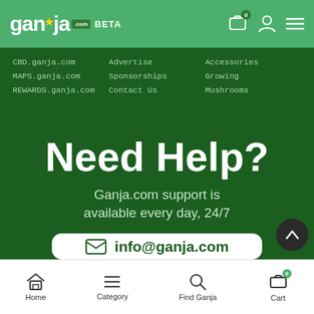[Figure (logo): Ganja.com BETA logo with green leaf star icon, white text on green header background]
CBD.ganja.com
MAPS.ganja.com
REWARDS.ganja.com
Advertise
Sponsorships
Contact Us
Accessories
Growing
Mushrooms
Need Help?
Ganja.com support is available every day, 24/7
info@ganja.com
Home  Category  Find Ganja  Cart